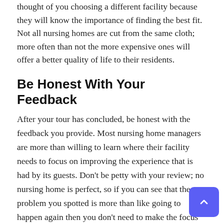thought of you choosing a different facility because they will know the importance of finding the best fit. Not all nursing homes are cut from the same cloth; more often than not the more expensive ones will offer a better quality of life to their residents.
Be Honest With Your Feedback
After your tour has concluded, be honest with the feedback you provide. Most nursing home managers are more than willing to learn where their facility needs to focus on improving the experience that is had by its guests. Don't be petty with your review; no nursing home is perfect, so if you can see that the problem you spotted is more than like going to happen again then you don't need to make the focus of your feedback.